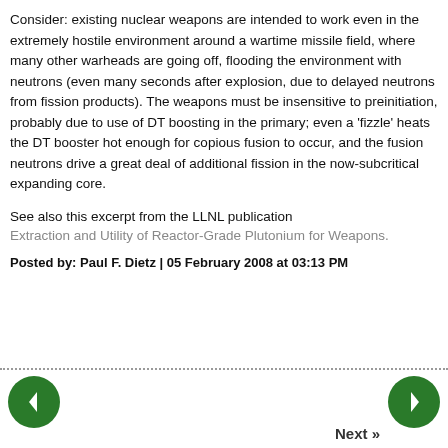Consider: existing nuclear weapons are intended to work even in the extremely hostile environment around a wartime missile field, where many other warheads are going off, flooding the environment with neutrons (even many seconds after explosion, due to delayed neutrons from fission products). The weapons must be insensitive to preinitiation, probably due to use of DT boosting in the primary; even a 'fizzle' heats the DT booster hot enough for copious fusion to occur, and the fusion neutrons drive a great deal of additional fission in the now-subcritical expanding core.
See also this excerpt from the LLNL publication Extraction and Utility of Reactor-Grade Plutonium for Weapons.
Posted by: Paul F. Dietz | 05 February 2008 at 03:13 PM
[Figure (other): Navigation buttons: left arrow (green circle) and right arrow (green circle) with 'Next »' label]